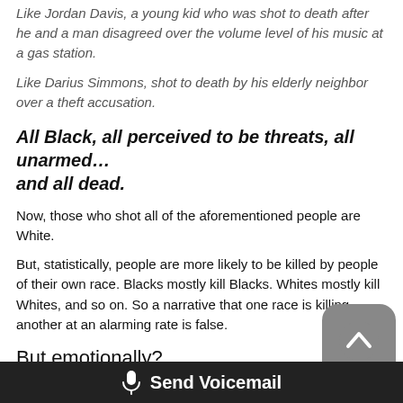Like Jordan Davis, a young kid who was shot to death after he and a man disagreed over the volume level of his music at a gas station.
Like Darius Simmons, shot to death by his elderly neighbor over a theft accusation.
All Black, all perceived to be threats, all unarmed…
and all dead.
Now, those who shot all of the aforementioned people are White.
But, statistically, people are more likely to be killed by people of their own race. Blacks mostly kill Blacks. Whites mostly kill Whites, and so on. So a narrative that one race is killing another at an alarming rate is false.
But emotionally?
This feels like an epidemic to the Black community.